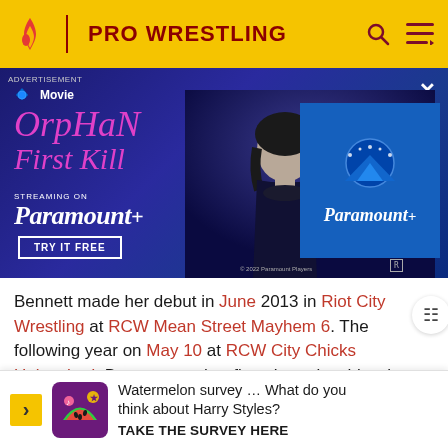PRO WRESTLING
[Figure (photo): Advertisement for Orphan: First Kill streaming on Paramount+. Shows movie title in pink text on dark blue background with a person's silhouette, Paramount+ logo and 'Try It Free' button.]
Bennett made her debut in June 2013 in Riot City Wrestling at RCW Mean Street Mayhem 6. The following year on May 10 at RCW City Chicks Unleashed, Bennett won her first championship when defeated Savannah Summers to win the RCW Women's Championship. She held [cut off] Unlea[cut off] Wond[cut off]
[Figure (infographic): Watermelon survey widget: 'Watermelon survey … What do you think about Harry Styles? TAKE THE SURVEY HERE']